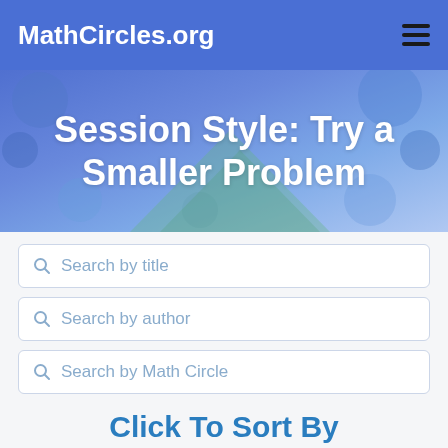MathCircles.org
Session Style: Try a Smaller Problem
Search by title
Search by author
Search by Math Circle
Click To Sort By
Grade